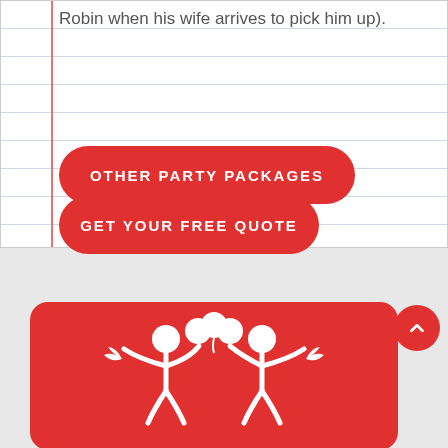Robin when his wife arrives to pick him up).
OTHER PARTY PACKAGES
GET YOUR FREE QUOTE
[Figure (illustration): Red card with white party illustration showing two figures with balloons and party hats celebrating]